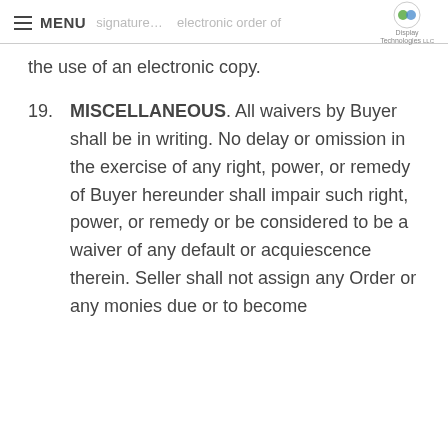MENU | Display Technologies (logo) | signature... electronic order of
the use of an electronic copy.
19. MISCELLANEOUS. All waivers by Buyer shall be in writing. No delay or omission in the exercise of any right, power, or remedy of Buyer hereunder shall impair such right, power, or remedy or be considered to be a waiver of any default or acquiescence therein. Seller shall not assign any Order or any monies due or to become